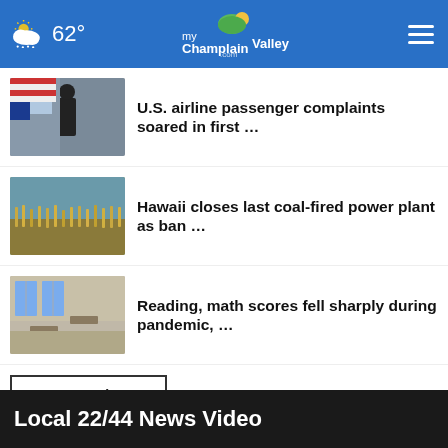62° myChamplainValley.com
U.S. airline passenger complaints soared in first …
Hawaii closes last coal-fired power plant as ban …
Reading, math scores fell sharply during pandemic, …
California wildfires prompt evacuations amid heat …
More Stories ›
Local 22/44 News Video